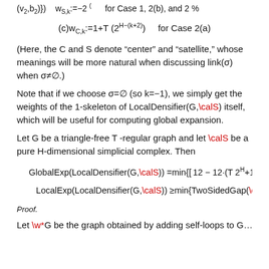(Here, the C and S denote “center” and “satellite,” whose meanings will be more natural when discussing link(σ) when σ≠∅.)
Note that if we choose σ=∅ (so k=−1), we simply get the weights of the 1-skeleton of LocalDensifier(G,\calS) itself, which will be useful for computing global expansion.
Let G be a triangle-free T -regular graph and let \calS be a pure H-dimensional simplicial complex. Then
Proof.
Let \w*G be the graph obtained by adding self-loops to G...